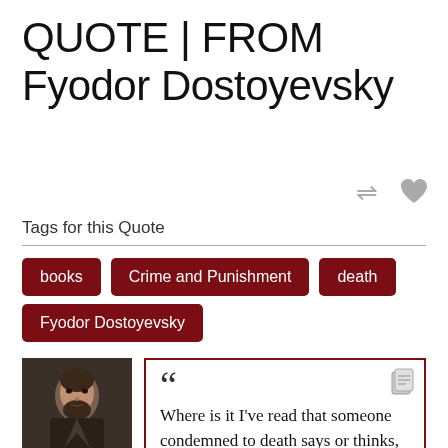QUOTE | FROM Fyodor Dostoyevsky
Tags for this Quote
books
Crime and Punishment
death
Fyodor Dostoyevsky
[Figure (photo): Portrait painting of Fyodor Dostoyevsky, a bearded man in dark clothing]
“Where is it I've read that someone condemned to death says or thinks, an hour before his death, that if he had to live on some high